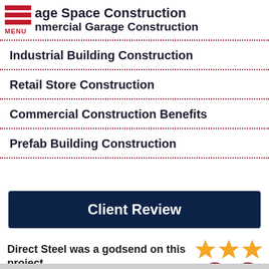age Space Construction — Commercial Garage Construction [MENU]
Commercial Garage Construction
Industrial Building Construction
Retail Store Construction
Commercial Construction Benefits
Prefab Building Construction
Client Review
Direct Steel was a godsend on this project.